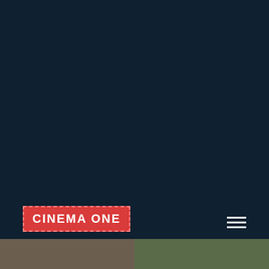[Figure (logo): Cinema One logo badge — red rectangle with dashed border containing white bold text 'CINEMA ONE' on dark navy background]
[Figure (screenshot): Hamburger menu icon (three horizontal white lines) in bottom right area]
[Figure (photo): Partial photo strip at the very bottom of the page showing people/faces, split into two panels]